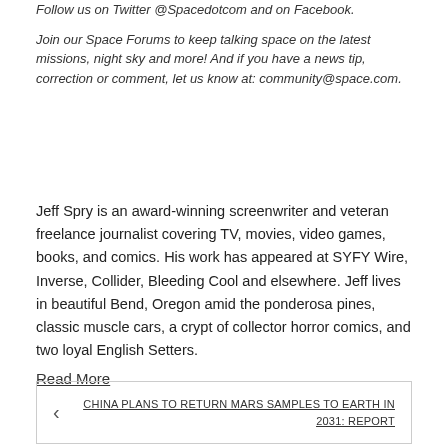Follow us on Twitter @Spacedotcom and on Facebook.

Join our Space Forums to keep talking space on the latest missions, night sky and more! And if you have a news tip, correction or comment, let us know at: community@space.com.
Jeff Spry is an award-winning screenwriter and veteran freelance journalist covering TV, movies, video games, books, and comics. His work has appeared at SYFY Wire, Inverse, Collider, Bleeding Cool and elsewhere. Jeff lives in beautiful Bend, Oregon amid the ponderosa pines, classic muscle cars, a crypt of collector horror comics, and two loyal English Setters.
Read More
CHINA PLANS TO RETURN MARS SAMPLES TO EARTH IN 2031: REPORT